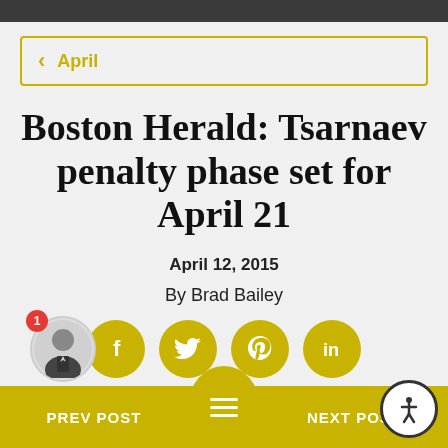April
Boston Herald: Tsarnaev penalty phase set for April 21
April 12, 2015
By Brad Bailey
[Figure (other): Social media share buttons: Facebook, Twitter, Pinterest, LinkedIn (yellow circles with white icons), and author avatar with red badge showing 1]
PREV POST   NEXT POST